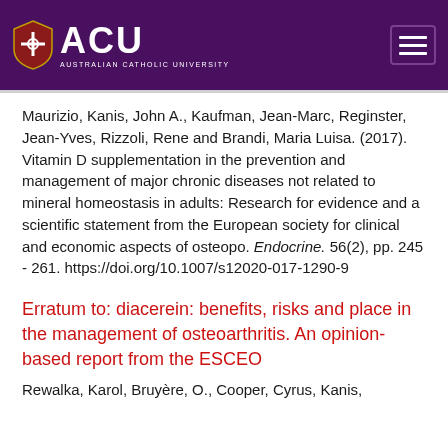[Figure (logo): Australian Catholic University (ACU) header with purple background, ACU shield logo, ACU text, and hamburger menu icon]
Maurizio, Kanis, John A., Kaufman, Jean-Marc, Reginster, Jean-Yves, Rizzoli, Rene and Brandi, Maria Luisa. (2017). Vitamin D supplementation in the prevention and management of major chronic diseases not related to mineral homeostasis in adults: Research for evidence and a scientific statement from the European society for clinical and economic aspects of osteopo. Endocrine. 56(2), pp. 245 - 261. https://doi.org/10.1007/s12020-017-1290-9
Erratum to: diacerein: benefits, risks and place in the management of osteoarthritis. An opinion-based report from the ESCEO
Rewalka, Karol, Bruyère, O., Cooper, Cyrus, Kanis,